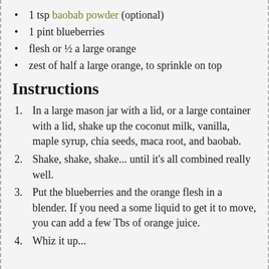1 tsp baobab powder (optional)
1 pint blueberries
flesh or ½ a large orange
zest of half a large orange, to sprinkle on top
Instructions
In a large mason jar with a lid, or a large container with a lid, shake up the coconut milk, vanilla, maple syrup, chia seeds, maca root, and baobab.
Shake, shake, shake... until it's all combined really well.
Put the blueberries and the orange flesh in a blender. If you need a some liquid to get it to move, you can add a few Tbs of orange juice.
Whiz it up...